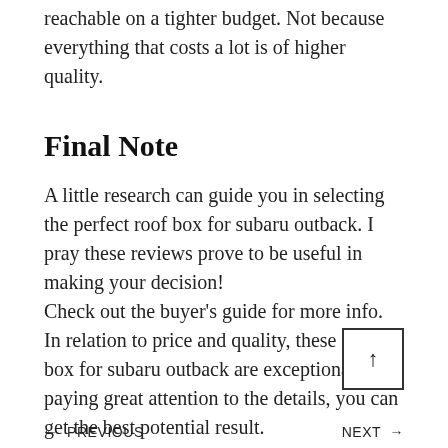reachable on a tighter budget. Not because everything that costs a lot is of higher quality.
Final Note
A little research can guide you in selecting the perfect roof box for subaru outback. I pray these reviews prove to be useful in making your decision!
Check out the buyer's guide for more info. In relation to price and quality, these roof box for subaru outback are exceptional. By paying great attention to the details, you can get the best potential result.
← PREVIOUS   NEXT →